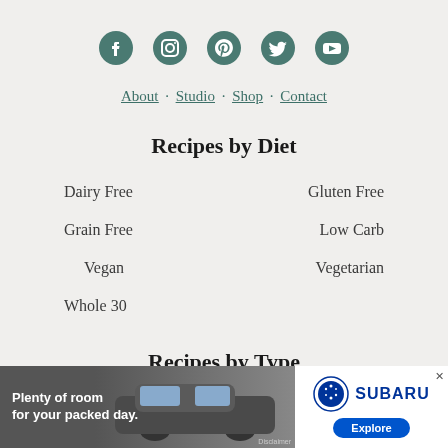[Figure (other): Row of five social media icons: Facebook, Instagram, Pinterest, Twitter, YouTube — all in teal/dark green color]
About · Studio · Shop · Contact
Recipes by Diet
Dairy Free
Gluten Free
Grain Free
Low Carb
Vegan
Vegetarian
Whole 30
Recipes by Type
[Figure (other): Advertisement banner: Subaru car ad with text 'Plenty of room for your packed day.' and Explore button]